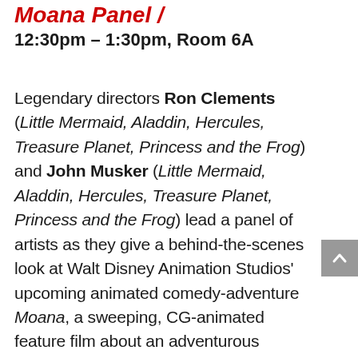12:30pm – 1:30pm, Room 6A
Legendary directors Ron Clements (Little Mermaid, Aladdin, Hercules, Treasure Planet, Princess and the Frog) and John Musker (Little Mermaid, Aladdin, Hercules, Treasure Planet, Princess and the Frog) lead a panel of artists as they give a behind-the-scenes look at Walt Disney Animation Studios' upcoming animated comedy-adventure Moana, a sweeping, CG-animated feature film about an adventurous teenager who sails out on